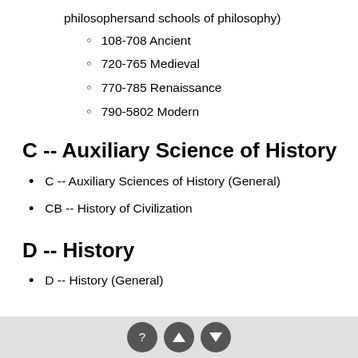philosophersand schools of philosophy)
108-708 Ancient
720-765 Medieval
770-785 Renaissance
790-5802 Modern
C -- Auxiliary Science of History
C -- Auxiliary Sciences of History (General)
CB -- History of Civilization
D -- History
D -- History (General)
E & F -- History of the Americas
? ▲ ▼